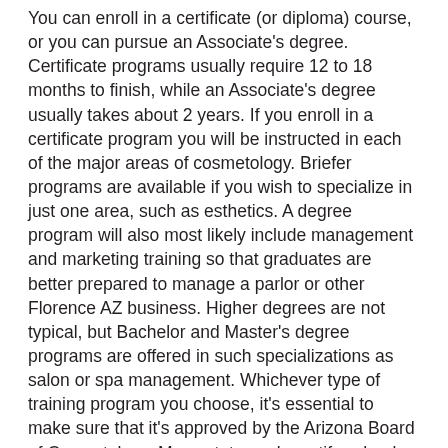You can enroll in a certificate (or diploma) course, or you can pursue an Associate's degree. Certificate programs usually require 12 to 18 months to finish, while an Associate's degree usually takes about 2 years. If you enroll in a certificate program you will be instructed in each of the major areas of cosmetology. Briefer programs are available if you wish to specialize in just one area, such as esthetics. A degree program will also most likely include management and marketing training so that graduates are better prepared to manage a parlor or other Florence AZ business. Higher degrees are not typical, but Bachelor and Master's degree programs are offered in such specializations as salon or spa management. Whichever type of training program you choose, it's essential to make sure that it's approved by the Arizona Board of Cosmetology. Many states only certify schools that are accredited by certain respected agencies, for instance the American Association of Cosmetology Schools (AACS). We will discuss the advantages of accreditation for the school you decide on in the next segment.